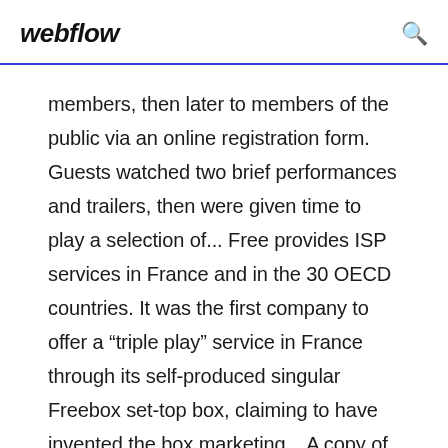webflow
members, then later to members of the public via an online registration form. Guests watched two brief performances and trailers, then were given time to play a selection of... Free provides ISP services in France and in the 30 OECD countries. It was the first company to offer a "triple play" service in France through its self-produced singular Freebox set-top box, claiming to have invented the box marketing... A copy of the WARC file can be given to subscribing partner institutions for geo-redundant preservation and storage purposes to their best practice standards. Periodically, the data captured through Archive-It is